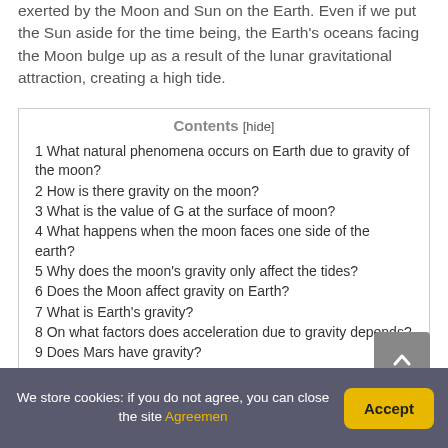exerted by the Moon and Sun on the Earth. Even if we put the Sun aside for the time being, the Earth's oceans facing the Moon bulge up as a result of the lunar gravitational attraction, creating a high tide.
1 What natural phenomena occurs on Earth due to gravity of the moon?
2 How is there gravity on the moon?
3 What is the value of G at the surface of moon?
4 What happens when the moon faces one side of the earth?
5 Why does the moon's gravity only affect the tides?
6 Does the Moon affect gravity on Earth?
7 What is Earth's gravity?
8 On what factors does acceleration due to gravity depends?
9 Does Mars have gravity?
We store cookies: if you do not agree, you can close the site Agreemen